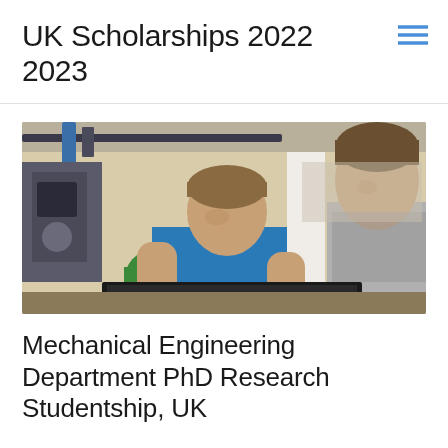UK Scholarships 2022 2023
[Figure (photo): Two male university students in an engineering laboratory, one wearing a blue t-shirt leaning over equipment, another in a grey hoodie looking at a computer screen. Lab equipment and machinery visible in background.]
Mechanical Engineering Department PhD Research Studentship, UK